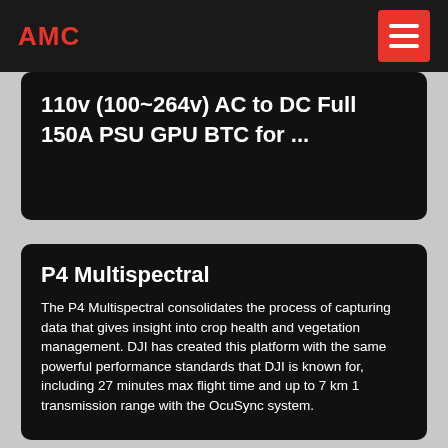AMC
110v (100~264v) AC to DC Full 150A PSU GPU BTC for ...
P4 Multispectral
The P4 Multispectral consolidates the process of capturing data that gives insight into crop health and vegetation management. DJI has created this platform with the same powerful performance standards that DJI is known for, including 27 minutes max flight time and up to 7 km 1 transmission range with the OcuSync system.